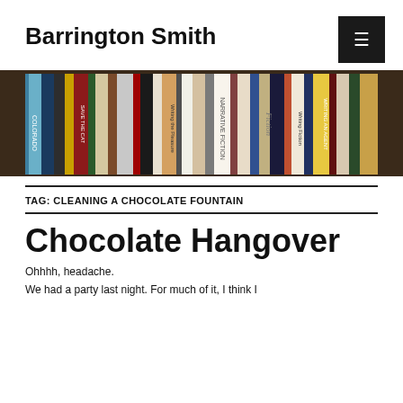Barrington Smith
[Figure (photo): A row of books on a bookshelf viewed from the side, showing spines of various writing and fiction-related books including titles like 'Save the Cat', 'Writing Fiction', and others.]
TAG: CLEANING A CHOCOLATE FOUNTAIN
Chocolate Hangover
Ohhhh, headache.
We had a party last night. For much of it, I think I